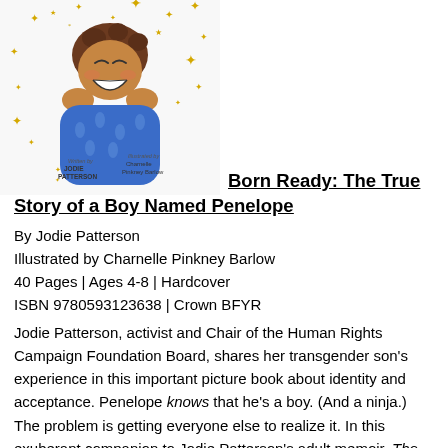[Figure (illustration): Book cover illustration of a laughing boy in a blue patterned outfit surrounded by gold stars. Text on cover reads: Written by Jodie Patterson, Illustrated by Charnelle Pinkney Barlow.]
Born Ready: The True Story of a Boy Named Penelope
By Jodie Patterson
Illustrated by Charnelle Pinkney Barlow
40 Pages | Ages 4-8 | Hardcover
ISBN 9780593123638 | Crown BFYR
Jodie Patterson, activist and Chair of the Human Rights Campaign Foundation Board, shares her transgender son's experience in this important picture book about identity and acceptance. Penelope knows that he's a boy. (And a ninja.) The problem is getting everyone else to realize it. In this exuberant companion to Jodie Patterson's adult memoir, The Bold World, Patterson